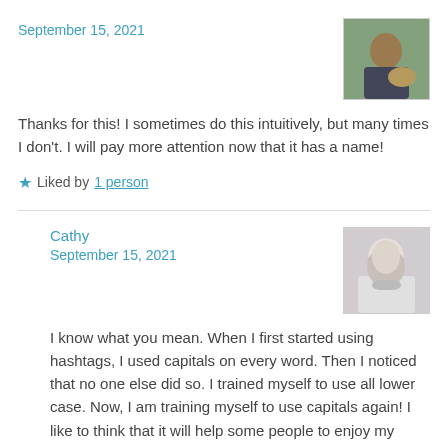September 15, 2021
[Figure (photo): Profile photo of a person crouching with a dog outdoors]
Thanks for this! I sometimes do this intuitively, but many times I don't. I will pay more attention now that it has a name!
★ Liked by 1 person
Cathy
September 15, 2021
[Figure (photo): Profile photo of a woman with long white/grey hair wearing a face mask]
I know what you mean. When I first started using hashtags, I used capitals on every word. Then I noticed that no one else did so. I trained myself to use all lower case. Now, I am training myself to use capitals again! I like to think that it will help some people to enjoy my posts! I think using camelCase makes hashtags much easier to read for everyone. I know it does for me! Thank you for your